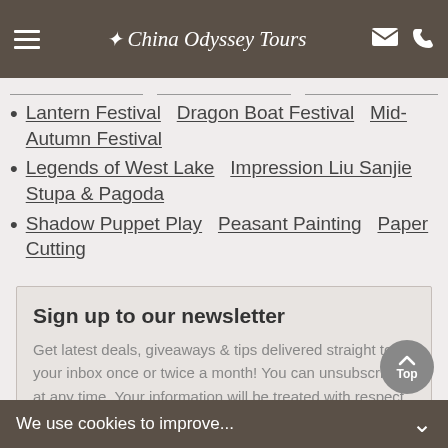China Odyssey Tours
Lantern Festival   Dragon Boat Festival   Mid-Autumn Festival
Legends of West Lake   Impression Liu Sanjie   Stupa & Pagoda
Shadow Puppet Play   Peasant Painting   Paper Cutting
Sign up to our newsletter
Get latest deals, giveaways & tips delivered straight to your inbox once or twice a month! You can unsubscribe at any time. Your information will be treated with respect.
We use cookies to improve...